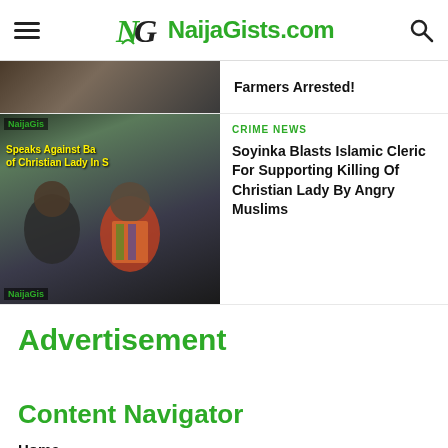NaijaGists.com
Farmers Arrested!
[Figure (photo): Thumbnail image showing NaijaGists.com article about Soyinka speaking against killing of Christian lady, with overlay text and watermarks]
CRIME NEWS
Soyinka Blasts Islamic Cleric For Supporting Killing Of Christian Lady By Angry Muslims
Advertisement
Content Navigator
Home
Motivation
Health & Beauty
Opinions
All Updates